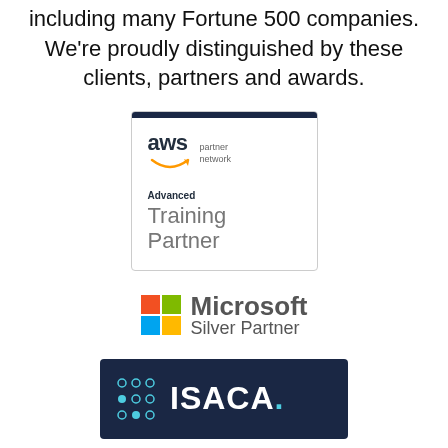including many Fortune 500 companies. We’re proudly distinguished by these clients, partners and awards.
[Figure (logo): AWS Partner Network - Advanced Training Partner badge with dark navy top bar and white body]
[Figure (logo): Microsoft Silver Partner logo with colorful four-square grid icon]
[Figure (logo): ISACA logo on dark navy blue background with teal circular icon]